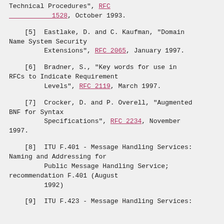Technical Procedures", RFC 1528, October 1993.
[5]  Eastlake, D. and C. Kaufman, "Domain Name System Security Extensions", RFC 2065, January 1997.
[6]  Bradner, S., "Key words for use in RFCs to Indicate Requirement Levels", RFC 2119, March 1997.
[7]  Crocker, D. and P. Overell, "Augmented BNF for Syntax Specifications", RFC 2234, November 1997.
[8]  ITU F.401 - Message Handling Services: Naming and Addressing for Public Message Handling Service; recommendation F.401 (August 1992)
[9]  ITU F.423 - Message Handling Services: